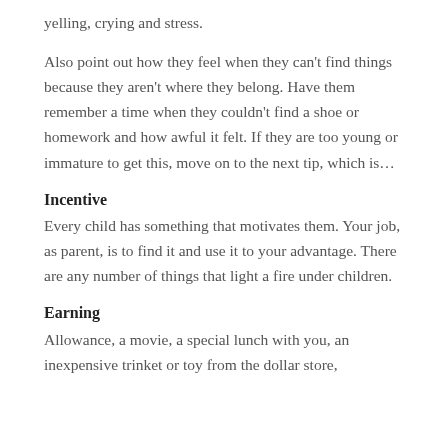yelling, crying and stress.
Also point out how they feel when they can't find things because they aren't where they belong. Have them remember a time when they couldn't find a shoe or homework and how awful it felt. If they are too young or immature to get this, move on to the next tip, which is…
Incentive
Every child has something that motivates them. Your job, as parent, is to find it and use it to your advantage. There are any number of things that light a fire under children.
Earning
Allowance, a movie, a special lunch with you, an inexpensive trinket or toy from the dollar store,